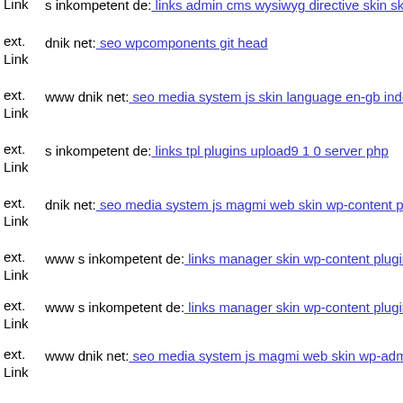ext. Link s inkompetent de: links admin cms wysiwyg directive skin skin...
ext. Link dnik net: seo wpcomponents git head
ext. Link www dnik net: seo media system js skin language en-gb index
ext. Link s inkompetent de: links tpl plugins upload9 1 0 server php
ext. Link dnik net: seo media system js magmi web skin wp-content plug...
ext. Link www s inkompetent de: links manager skin wp-content plugins...
ext. Link www s inkompetent de: links manager skin wp-content plugins...
ext. Link www dnik net: seo media system js magmi web skin wp-admin...
ext. Link dnik net: seo old jm-ajax git head
ext. Link dnik net: seo plugins phpthumb phpthumb libs php
ext. Link dnik net: seo components com civicrm civicrm packages openf...
ext. Link s inkompetent de: links phpthumb wp-content plugins revolutio...